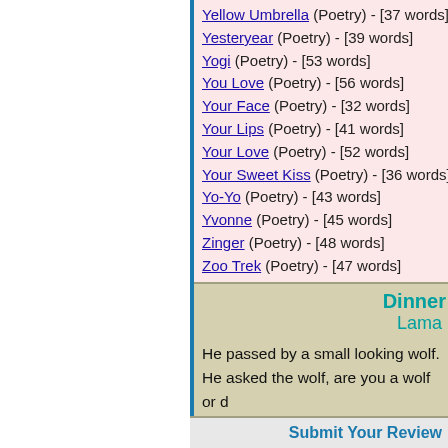Yellow Umbrella (Poetry) - [37 words]
Yesteryear (Poetry) - [39 words]
Yogi (Poetry) - [53 words]
You Love (Poetry) - [56 words]
Your Face (Poetry) - [32 words]
Your Lips (Poetry) - [41 words]
Your Love (Poetry) - [52 words]
Your Sweet Kiss (Poetry) - [36 words]
Yo-Yo (Poetry) - [43 words]
Yvonne (Poetry) - [45 words]
Zinger (Poetry) - [48 words]
Zoo Trek (Poetry) - [47 words]
Dinner
Lama
He passed by a small looking wolf.
He asked the wolf, are you a wolf or d
The wolf said, it doesn't matter.
I'm going to have you on my dinner p
This just ain't your day.
Too bad, you came my way.
Submit Your Review